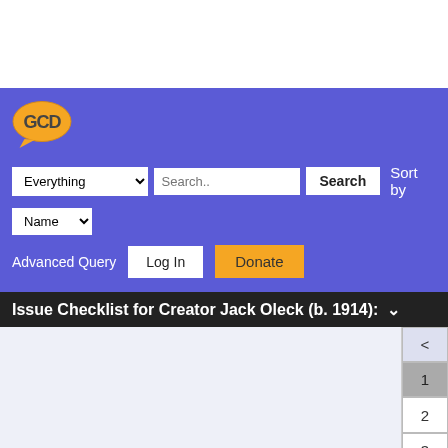[Figure (logo): GCD logo in orange on purple background]
Everything [dropdown] Search.. [input] Search [button] Sort by Name [dropdown]
Advanced Query   Log In   Donate
Issue Checklist for Creator Jack Oleck (b. 1914): ∨
Displaying 1 to 100 of 411 issues matching your query.